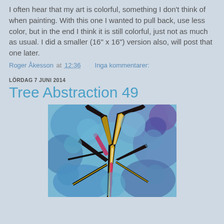I often hear that my art is colorful, something I don't think of when painting. With this one I wanted to pull back, use less color, but in the end I think it is still colorful, just not as much as usual. I did a smaller (16" x 16") version also, will post that one later.
Roger Åkesson at 12:36    Inga kommentarer:
LÖRDAG 7 JUNI 2014
Tree Abstraction 49
[Figure (illustration): Abstract colorful painting of tree branches with blue, purple, yellow, black, and pink colors in an abstract fragmented style.]